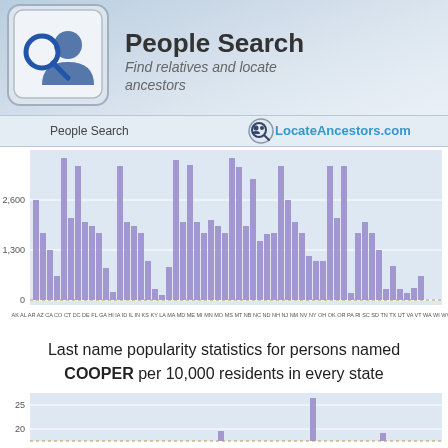[Figure (logo): People Search app icon with keyboard key and magnifying glass over person silhouette, with title 'People Search' and subtitle 'Find relatives and locate ancestors']
People Search | LocateAncestors.com
[Figure (bar-chart): People named COOPER count by state]
Last name popularity statistics for persons named COOPER per 10,000 residents in every state
[Figure (bar-chart): Partial bar chart visible, y-axis shows 20 and 25 marks, a tall bar visible around 22 height]